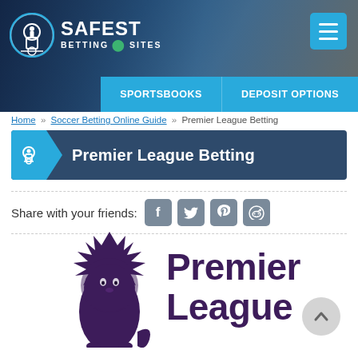[Figure (screenshot): Website header with sports background photo showing football players, Safest Betting Sites logo on left, hamburger menu on right, and two blue navigation buttons: SPORTSBOOKS and DEPOSIT OPTIONS]
Home » Soccer Betting Online Guide » Premier League Betting
Premier League Betting
Share with your friends:
[Figure (logo): Premier League logo: purple lion with crown icon on left, large purple text 'Premier League' on right]